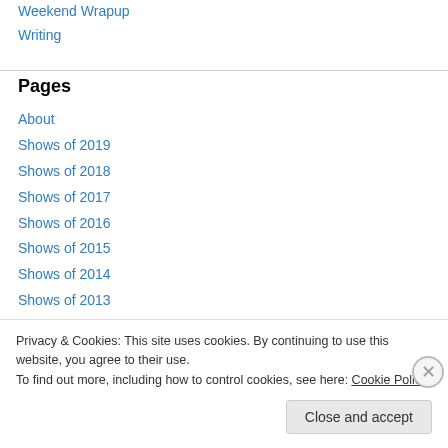Weekend Wrapup
Writing
Pages
About
Shows of 2019
Shows of 2018
Shows of 2017
Shows of 2016
Shows of 2015
Shows of 2014
Shows of 2013
Privacy & Cookies: This site uses cookies. By continuing to use this website, you agree to their use.
To find out more, including how to control cookies, see here: Cookie Policy